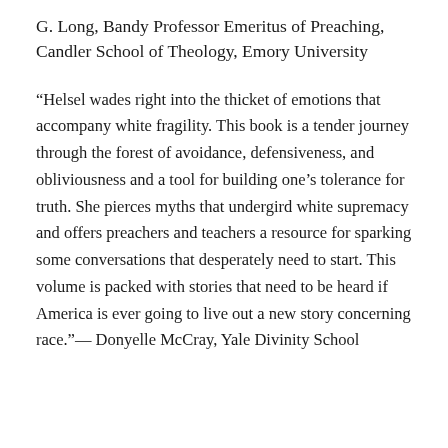G. Long, Bandy Professor Emeritus of Preaching, Candler School of Theology, Emory University
“Helsel wades right into the thicket of emotions that accompany white fragility. This book is a tender journey through the forest of avoidance, defensiveness, and obliviousness and a tool for building one’s tolerance for truth. She pierces myths that undergird white supremacy and offers preachers and teachers a resource for sparking some conversations that desperately need to start. This volume is packed with stories that need to be heard if America is ever going to live out a new story concerning race.”— Donyelle McCray, Yale Divinity School